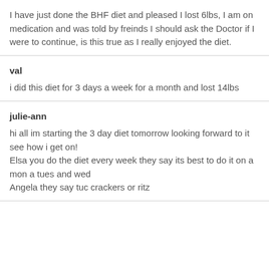I have just done the BHF diet and pleased I lost 6lbs, I am on medication and was told by freinds I should ask the Doctor if I were to continue, is this true as I really enjoyed the diet.
val
i did this diet for 3 days a week for a month and lost 14lbs
julie-ann
hi all im starting the 3 day diet tomorrow looking forward to it see how i get on!
Elsa you do the diet every week they say its best to do it on a mon a tues and wed
Angela they say tuc crackers or ritz